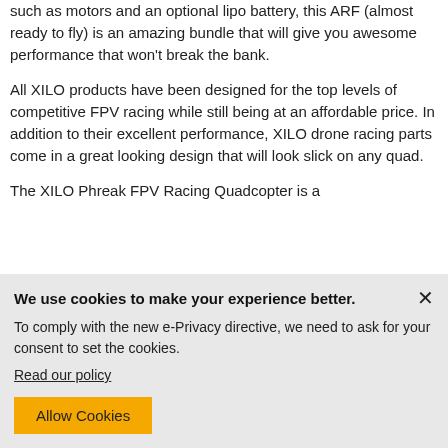such as motors and an optional lipo battery, this ARF (almost ready to fly) is an amazing bundle that will give you awesome performance that won't break the bank.
All XILO products have been designed for the top levels of competitive FPV racing while still being at an affordable price. In addition to their excellent performance, XILO drone racing parts come in a great looking design that will look slick on any quad.
The XILO Phreak FPV Racing Quadcopter is a
We use cookies to make your experience better.
To comply with the new e-Privacy directive, we need to ask for your consent to set the cookies.
Read our policy
Allow Cookies